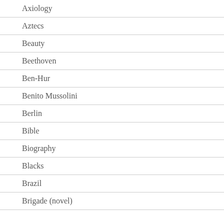Axiology
Aztecs
Beauty
Beethoven
Ben-Hur
Benito Mussolini
Berlin
Bible
Biography
Blacks
Brazil
Brigade (novel)